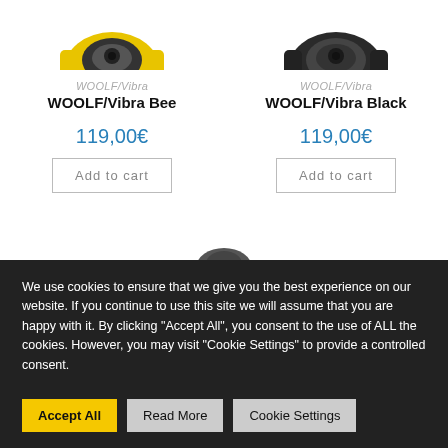[Figure (photo): Yellow WOOLF/Vibra Bee product image (partially cropped at top)]
WOOLF/Vibra
WOOLF/Vibra Bee
119,00€
Add to cart
[Figure (photo): Black WOOLF/Vibra Black product image (partially cropped at top)]
WOOLF/Vibra
WOOLF/Vibra Black
119,00€
Add to cart
[Figure (photo): Partial product image visible at bottom center of white area]
We use cookies to ensure that we give you the best experience on our website. If you continue to use this site we will assume that you are happy with it. By clicking "Accept All", you consent to the use of ALL the cookies. However, you may visit "Cookie Settings" to provide a controlled consent.
Accept All
Read More
Cookie Settings